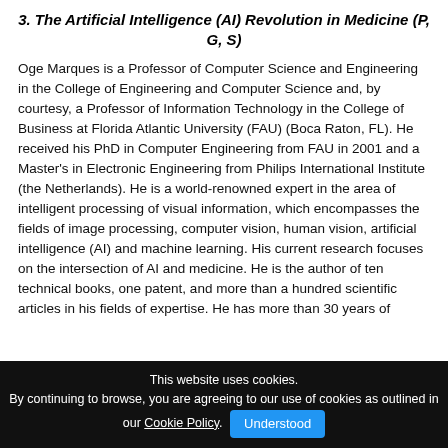3. The Artificial Intelligence (AI) Revolution in Medicine (P, G, S)
Oge Marques is a Professor of Computer Science and Engineering in the College of Engineering and Computer Science and, by courtesy, a Professor of Information Technology in the College of Business at Florida Atlantic University (FAU) (Boca Raton, FL). He received his PhD in Computer Engineering from FAU in 2001 and a Master's in Electronic Engineering from Philips International Institute (the Netherlands). He is a world-renowned expert in the area of intelligent processing of visual information, which encompasses the fields of image processing, computer vision, human vision, artificial intelligence (AI) and machine learning. His current research focuses on the intersection of AI and medicine. He is the author of ten technical books, one patent, and more than a hundred scientific articles in his fields of expertise. He has more than 30 years of
This website uses cookies.
By continuing to browse, you are agreeing to our use of cookies as outlined in our Cookie Policy.